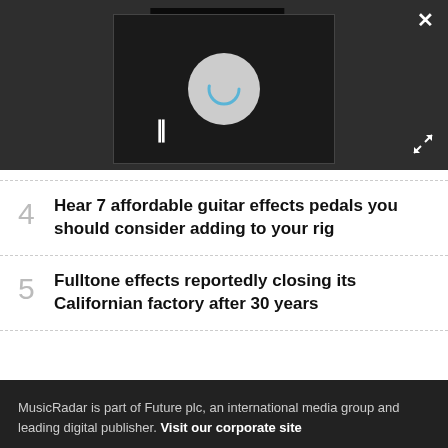[Figure (screenshot): Video player UI with dark background, a 'PLAY SOUND' button at top, a spinning/loading circle in center, a pause button (||) at bottom left, a close (×) button at top right, and an expand arrows button at bottom right.]
4 Hear 7 affordable guitar effects pedals you should consider adding to your rig
5 Fulltone effects reportedly closing its Californian factory after 30 years
MusicRadar is part of Future plc, an international media group and leading digital publisher. Visit our corporate site